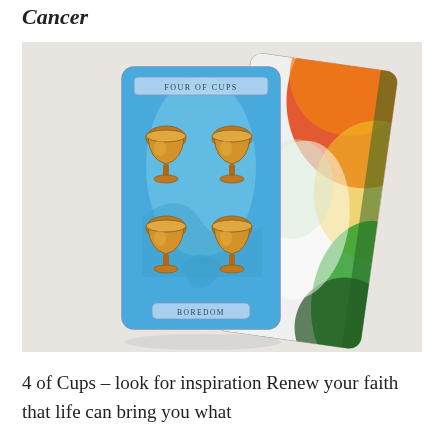Cancer
[Figure (photo): Two tarot cards on a white cloth surface. The front card is the 'Four of Cups' card with a blue background, showing four golden chalice cups arranged in two rows, with the word 'BOREDOM' on a label at the bottom. Behind it is a colorful card with swirling red, yellow, green and white abstract design.]
4 of Cups – look for inspiration Renew your faith that life can bring you what